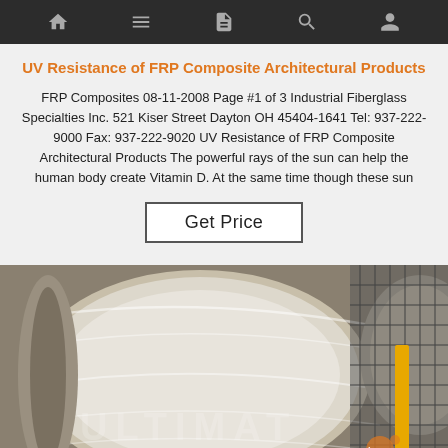Navigation bar with home, menu, document, search, and profile icons
UV Resistance of FRP Composite Architectural Products
FRP Composites 08-11-2008 Page #1 of 3 Industrial Fiberglass Specialties Inc. 521 Kiser Street Dayton OH 45404-1641 Tel: 937-222-9000 Fax: 937-222-9020 UV Resistance of FRP Composite Architectural Products The powerful rays of the sun can help the human body create Vitamin D. At the same time though these sun
Get Price
[Figure (photo): Large roll of FRP composite material wrapped in plastic film, with a yellow metal frame visible on the right side. A watermark reading 'top' with an orange splatter graphic is visible at the bottom right.]